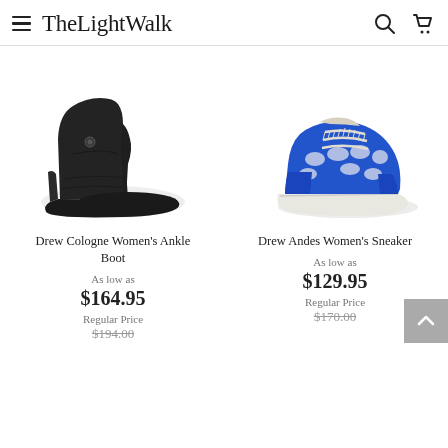TheLightWalk
[Figure (photo): Drew Cologne Women's Ankle Boot - black leather ankle boot with side button detail and low wedge sole]
[Figure (photo): Drew Andes Women's Sneaker - blue athletic sneaker with white mesh cutouts and lace-up closure]
Drew Cologne Women's Ankle Boot
As low as
$164.95
Regular Price
$194.00
Drew Andes Women's Sneaker
As low as
$129.95
Regular Price
$170.00